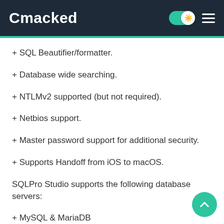Cmacked
+ SQL Beautifier/formatter.
+ Database wide searching.
+ NTLMv2 supported (but not required).
+ Netbios support.
+ Master password support for additional security.
+ Supports Handoff from iOS to macOS.
SQLPro Studio supports the following database servers:
+ MySQL & MariaDB
+ PostgreSQL